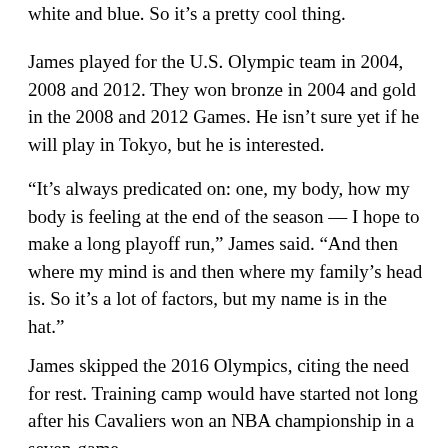white and blue. So it's a pretty cool thing.
James played for the U.S. Olympic team in 2004, 2008 and 2012. They won bronze in 2004 and gold in the 2008 and 2012 Games. He isn't sure yet if he will play in Tokyo, but he is interested.
“It’s always predicated on: one, my body, how my body is feeling at the end of the season — I hope to make a long playoff run,” James said. “And then where my mind is and then where my family’s head is. So it’s a lot of factors, but my name is in the hat.”
James skipped the 2016 Olympics, citing the need for rest. Training camp would have started not long after his Cavaliers won an NBA championship in a seven-game